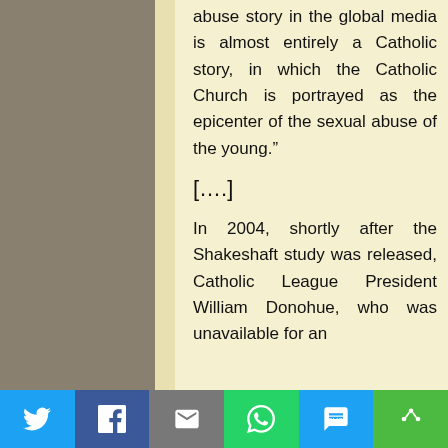abuse story in the global media is almost entirely a Catholic story, in which the Catholic Church is portrayed as the epicenter of the sexual abuse of the young.”
[….]
In 2004, shortly after the Shakeshaft study was released, Catholic League President William Donohue, who was unavailable for an